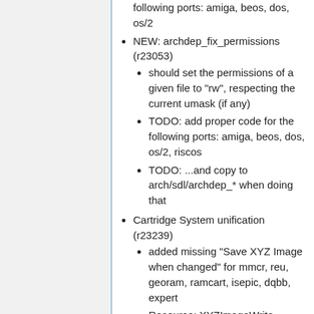following ports: amiga, beos, dos, os/2
NEW: archdep_fix_permissions (r23053)
should set the permissions of a given file to "rw", respecting the current umask (if any)
TODO: add proper code for the following ports: amiga, beos, dos, os/2, riscos
TODO: ...and copy to arch/sdl/archdep_* when doing that
Cartridge System unification (r23239)
added missing "Save XYZ Image when changed" for mmcr, reu, georam, ramcart, isepic, dqbb, expert
Resource: XYZImageWrite